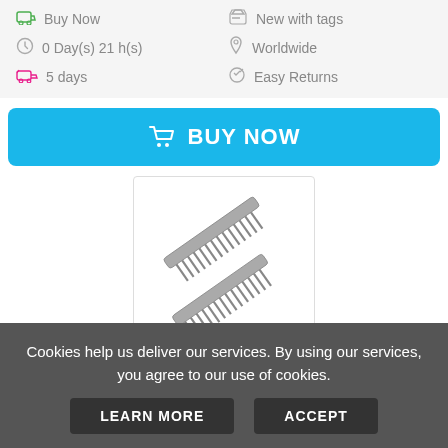Buy Now
New with tags
0 Day(s) 21 h(s)
Worldwide
5 days
Easy Returns
BUY NOW
[Figure (photo): Two metal dog grooming combs with rounded teeth, shown diagonally on a white background]
Cafhelp 2 Pack Dog Combs with Rounde...
$22.68
Cookies help us deliver our services. By using our services, you agree to our use of cookies.
LEARN MORE
ACCEPT